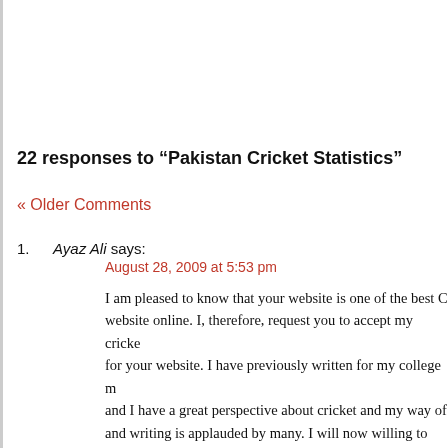22 responses to “Pakistan Cricket Statistics”
« Older Comments
Ayaz Ali says:
August 28, 2009 at 5:53 pm

I am pleased to know that your website is one of the best C website online. I, therefore, request you to accept my cricke for your website. I have previously written for my college m and I have a great perspective about cricket and my way of and writing is applauded by many. I will now willing to wri your website. If required, I can email you my articles that I have written.

Thank you,